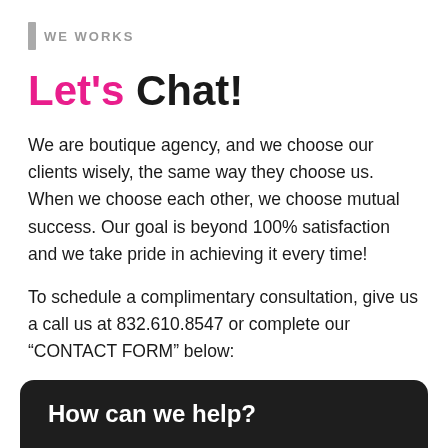WE WORKS
Let's Chat!
We are boutique agency, and we choose our clients wisely, the same way they choose us. When we choose each other, we choose mutual success. Our goal is beyond 100% satisfaction and we take pride in achieving it every time!
To schedule a complimentary consultation, give us a call us at 832.610.8547 or complete our “CONTACT FORM” below:
How can we help?